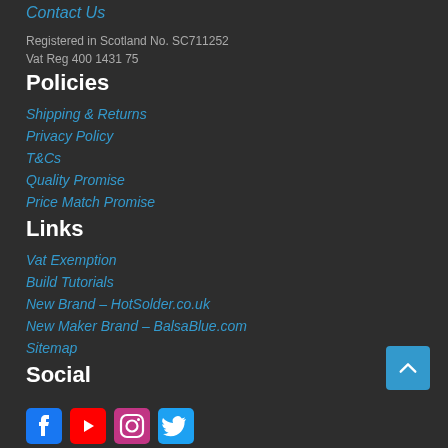Contact Us
Registered in Scotland No. SC711252
Vat Reg 400 1431 75
Policies
Shipping & Returns
Privacy Policy
T&Cs
Quality Promise
Price Match Promise
Links
Vat Exemption
Build Tutorials
New Brand – HotSolder.co.uk
New Maker Brand – BalsaBlue.com
Sitemap
Social
[Figure (illustration): Social media icons: Facebook, YouTube, Instagram, Twitter]